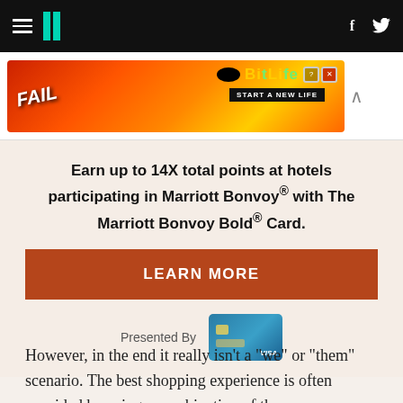HuffPost navigation header with hamburger menu, logo, Facebook and Twitter icons
[Figure (infographic): BitLife mobile game advertisement banner with FAIL text and 'START A NEW LIFE' tagline]
Earn up to 14X total points at hotels participating in Marriott Bonvoy® with The Marriott Bonvoy Bold® Card.
LEARN MORE
Presented By
[Figure (photo): Marriott Bonvoy Bold Visa credit card image]
However, in the end it really isn't a "we" or "them" scenario. The best shopping experience is often provided by using a combination of the